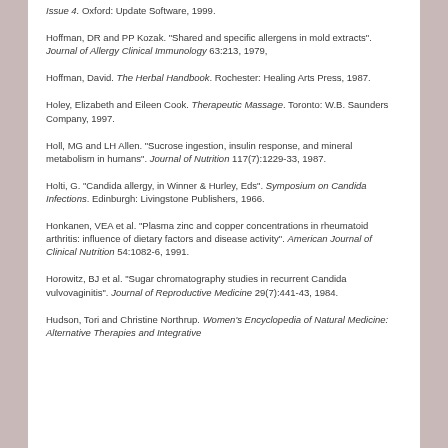Issue 4. Oxford: Update Software, 1999.
Hoffman, DR and PP Kozak. "Shared and specific allergens in mold extracts". Journal of Allergy Clinical Immunology 63:213, 1979,
Hoffman, David. The Herbal Handbook. Rochester: Healing Arts Press, 1987.
Holey, Elizabeth and Eileen Cook. Therapeutic Massage. Toronto: W.B. Saunders Company, 1997.
Holl, MG and LH Allen. "Sucrose ingestion, insulin response, and mineral metabolism in humans". Journal of Nutrition 117(7):1229-33, 1987.
Holti, G. "Candida allergy, in Winner & Hurley, Eds". Symposium on Candida Infections. Edinburgh: Livingstone Publishers, 1966.
Honkanen, VEA et al. "Plasma zinc and copper concentrations in rheumatoid arthritis: influence of dietary factors and disease activity". American Journal of Clinical Nutrition 54:1082-6, 1991.
Horowitz, BJ et al. "Sugar chromatography studies in recurrent Candida vulvovaginitis". Journal of Reproductive Medicine 29(7):441-43, 1984.
Hudson, Tori and Christine Northrup. Women's Encyclopedia of Natural Medicine: Alternative Therapies and Integrative